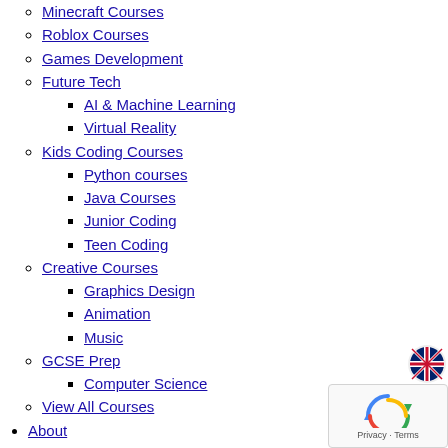Minecraft Courses
Roblox Courses
Games Development
Future Tech
AI & Machine Learning
Virtual Reality
Kids Coding Courses
Python courses
Java Courses
Junior Coding
Teen Coding
Creative Courses
Graphics Design
Animation
Music
GCSE Prep
Computer Science
View All Courses
About
column1
About
Meet our tutors
Testimonials
column2
Careers